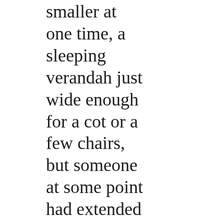smaller at one time, a sleeping verandah just wide enough for a cot or a few chairs, but someone at some point had extended it to become a good-sized deck. The roofers had assured him that the